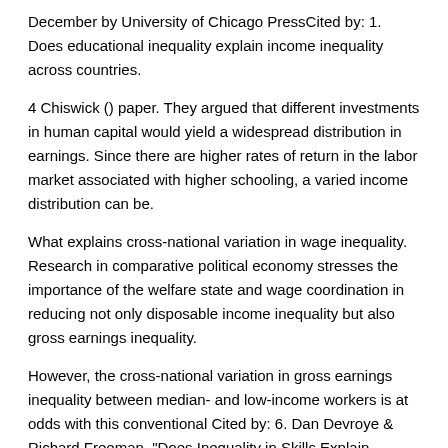December by University of Chicago PressCited by: 1. Does educational inequality explain income inequality across countries.
4 Chiswick () paper. They argued that different investments in human capital would yield a widespread distribution in earnings. Since there are higher rates of return in the labor market associated with higher schooling, a varied income distribution can be.
What explains cross-national variation in wage inequality. Research in comparative political economy stresses the importance of the welfare state and wage coordination in reducing not only disposable income inequality but also gross earnings inequality.
However, the cross-national variation in gross earnings inequality between median- and low-income workers is at odds with this conventional Cited by: 6. Dan Devroye & Richard Freeman, "Does Inequality in Skills Explain Inequality of Earnings Across Advanced Countries?," CEP Discussion Papers dp, Centre for Economic Performance, LSE.
Devroye, Dan & Freeman, Richard B., "Does inequality in skills